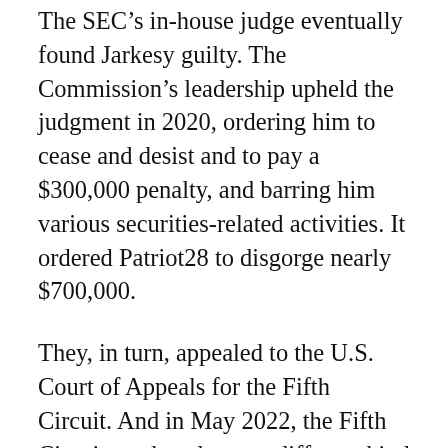The SEC's in-house judge eventually found Jarkesy guilty. The Commission's leadership upheld the judgment in 2020, ordering him to cease and desist and to pay a $300,000 penalty, and barring him various securities-related activities. It ordered Patriot28 to disgorge nearly $700,000.
They, in turn, appealed to the U.S. Court of Appeals for the Fifth Circuit. And in May 2022, the Fifth Circuit produced a very different kind of cease-and-desist decision.
The SEC “often acts as both prosecutor and judge, and its decisions have broad consequences,” wrote Judge Jennifer Walker Elrod at the outset of the Fifth Circuit’s